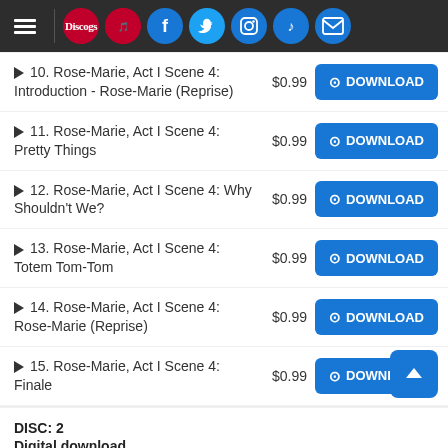Navigation bar with hamburger menu, Discogs logo, secondary logo, Facebook, Twitter, Instagram, TikTok, Mail icons
10. Rose-Marie, Act I Scene 4: Introduction - Rose-Marie (Reprise) $0.99 DOWNLOAD
11. Rose-Marie, Act I Scene 4: Pretty Things $0.99 DOWNLOAD
12. Rose-Marie, Act I Scene 4: Why Shouldn't We? $0.99 DOWNLOAD
13. Rose-Marie, Act I Scene 4: Totem Tom-Tom $0.99 DOWNLOAD
14. Rose-Marie, Act I Scene 4: Rose-Marie (Reprise) $0.99 DOWNLOAD
15. Rose-Marie, Act I Scene 4: Finale $0.99 DOWNLOAD
DISC: 2
Digital download
MP3
1. Rose-Marie, Act II: Entr'acte $0.99 DOWNLOAD